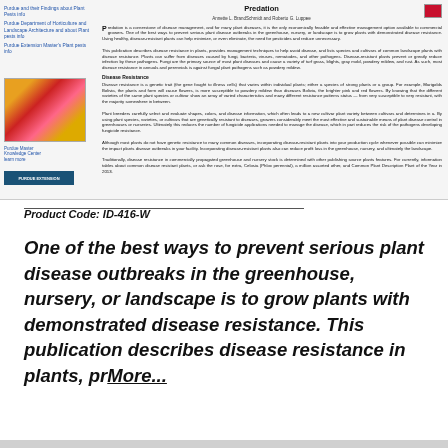[Figure (screenshot): Thumbnail preview of a Purdue Extension publication titled 'Predation' with sidebar links, a colorful flower bed photo, and dense body text about disease resistance in plants.]
Product Code: ID-416-W
One of the best ways to prevent serious plant disease outbreaks in the greenhouse, nursery, or landscape is to grow plants with demonstrated disease resistance. This publication describes disease resistance in plants, pr More...